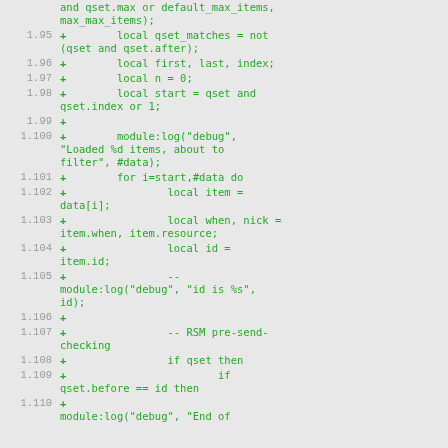[Figure (screenshot): Source code diff showing lines 1.95 through 1.110 of a Lua script with green diff additions on a grey background. Lines include qset_matches, first/last/index variables, loop logic, item processing, and RSM pre-send-checking code.]